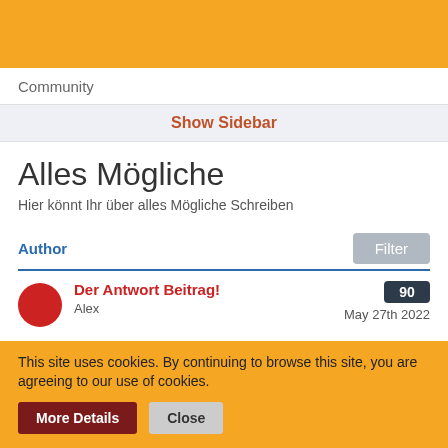Community
Show Sidebar
Alles Mögliche
Hier könnt Ihr über alles Mögliche Schreiben
Author
Filter
Der Antwort Beitrag!
Alex
May 27th 2022
90
This site uses cookies. By continuing to browse this site, you are agreeing to our use of cookies.
More Details   Close